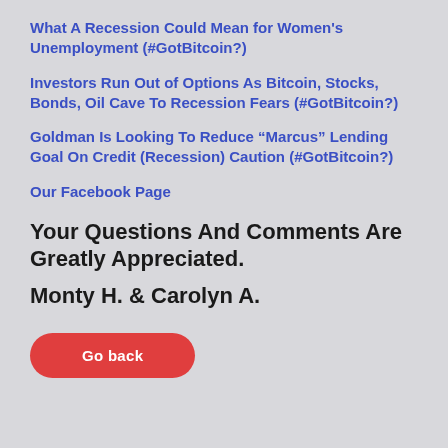What A Recession Could Mean for Women's Unemployment (#GotBitcoin?)
Investors Run Out of Options As Bitcoin, Stocks, Bonds, Oil Cave To Recession Fears (#GotBitcoin?)
Goldman Is Looking To Reduce “Marcus” Lending Goal On Credit (Recession) Caution (#GotBitcoin?)
Our Facebook Page
Your Questions And Comments Are Greatly Appreciated.
Monty H. & Carolyn A.
Go back